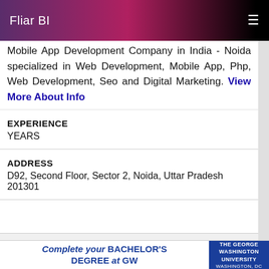Fliar BI
Mobile App Development Company in India - Noida specialized in Web Development, Mobile App, Php, Web Development, Seo and Digital Marketing. View More About Info
EXPERIENCE
YEARS
ADDRESS
D92, Second Floor, Sector 2, Noida, Uttar Pradesh 201301
Neha Sharma
[Figure (screenshot): Advertisement banner for The George Washington University: 'Complete your BACHELOR'S DEGREE at GW' with university logo]